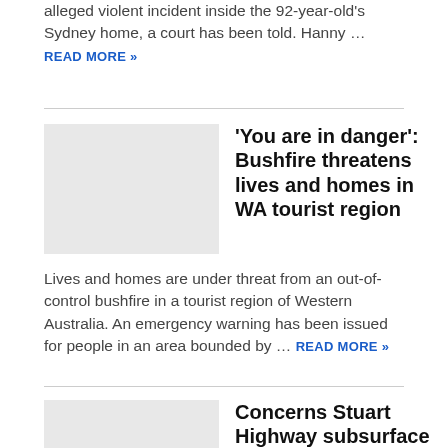alleged violent incident inside the 92-year-old's Sydney home, a court has been told. Hanny ... READ MORE »
'You are in danger': Bushfire threatens lives and homes in WA tourist region
Lives and homes are under threat from an out-of-control bushfire in a tourist region of Western Australia. An emergency warning has been issued for people in an area bounded by ... READ MORE »
Concerns Stuart Highway subsurface 'like jelly', no timeframe when it will be